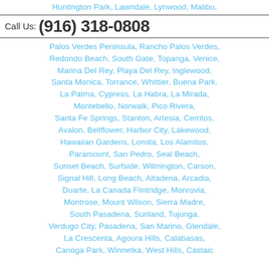Huntington Park, Lawndale, Lynwood, Malibu, M...
Call Us: (916) 318-0808
Palos Verdes Peninsula, Rancho Palos Verdes, Redondo Beach, South Gate, Topanga, Venice, Marina Del Rey, Playa Del Rey, Inglewood, Santa Monica, Torrance, Whittier, Buena Park, La Palma, Cypress, La Habra, La Mirada, Montebello, Norwalk, Pico Rivera, Santa Fe Springs, Stanton, Artesia, Cerritos, Avalon, Bellflower, Harbor City, Lakewood, Hawaiian Gardens, Lomita, Los Alamitos, Paramount, San Pedro, Seal Beach, Sunset Beach, Surfside, Wilmington, Carson, Signal Hill, Long Beach, Altadena, Arcadia, Duarte, La Canada Flintridge, Monrovia, Montrose, Mount Wilson, Sierra Madre, South Pasadena, Sunland, Tujunga, Verdugo City, Pasadena, San Marino, Glendale, La Crescenta, Agoura Hills, Calabasas, Canoga Park, Winnetka, West Hills, Castaic